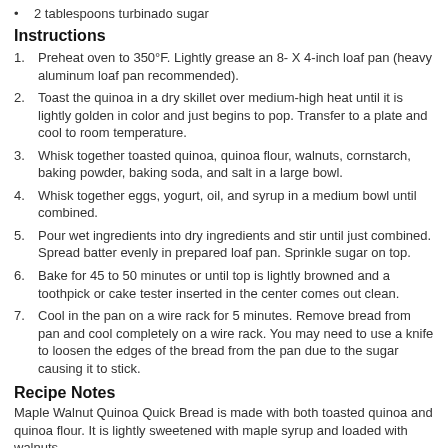2 tablespoons turbinado sugar
Instructions
Preheat oven to 350°F. Lightly grease an 8- X 4-inch loaf pan (heavy aluminum loaf pan recommended).
Toast the quinoa in a dry skillet over medium-high heat until it is lightly golden in color and just begins to pop. Transfer to a plate and cool to room temperature.
Whisk together toasted quinoa, quinoa flour, walnuts, cornstarch, baking powder, baking soda, and salt in a large bowl.
Whisk together eggs, yogurt, oil, and syrup in a medium bowl until combined.
Pour wet ingredients into dry ingredients and stir until just combined. Spread batter evenly in prepared loaf pan. Sprinkle sugar on top.
Bake for 45 to 50 minutes or until top is lightly browned and a toothpick or cake tester inserted in the center comes out clean.
Cool in the pan on a wire rack for 5 minutes. Remove bread from pan and cool completely on a wire rack. You may need to use a knife to loosen the edges of the bread from the pan due to the sugar causing it to stick.
Recipe Notes
Maple Walnut Quinoa Quick Bread is made with both toasted quinoa and quinoa flour. It is lightly sweetened with maple syrup and loaded with walnuts.